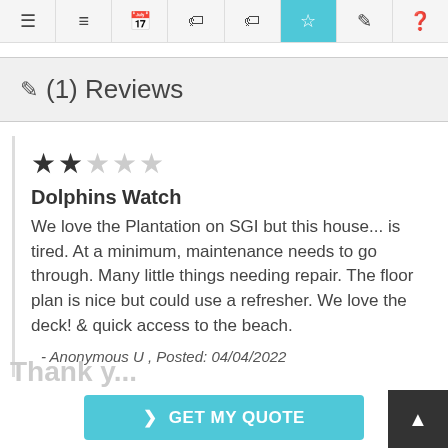Navigation bar with icons: menu, list, calendar, tag, tag, star (active), edit, help
✎ (1) Reviews
★★☆☆☆
Dolphins Watch
We love the Plantation on SGI but this house... is tired. At a minimum, maintenance needs to go through. Many little things needing repair. The floor plan is nice but could use a refresher. We love the deck! & quick access to the beach.
- Anonymous U , Posted: 04/04/2022
> GET MY QUOTE